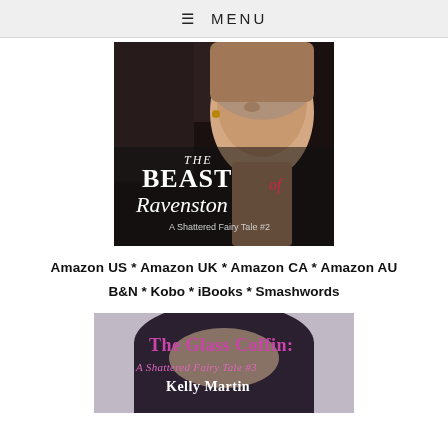≡ MENU
[Figure (illustration): Book cover for 'The Beast of Ravenston: A Shattered Fairy Tale #2' showing a young woman looking down, with dark gothic decor in background and stylized title text in red/white]
Amazon US * Amazon UK * Amazon CA * Amazon AU
B&N * Kobo * iBooks * Smashwords
[Figure (illustration): Book cover for 'The Glass Coffin: A Shattered Fairy Tale #3' by Kelly Martin, showing a woman with dark hair, title text in pink/magenta]